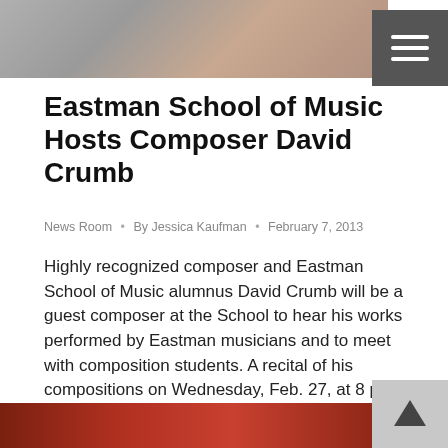[Figure (photo): Top portion of a person wearing a plaid/checkered jacket, photo cropped at shoulders, gray background. Navigation menu button (hamburger icon) overlaid on top right.]
Eastman School of Music Hosts Composer David Crumb
News Room  •  By Jessica Kaufman  •  February 7, 2013
Highly recognized composer and Eastman School of Music alumnus David Crumb will be a guest composer at the School to hear his works performed by Eastman musicians and to meet with composition students. A recital of his compositions on Wednesday, Feb. 27, at 8 p.m. in Hatch Recital Hall features Red Desert Triptych, performed by…
[Figure (photo): Bottom strip of a dark reddish-brown image, likely wooden doors or curtains.]